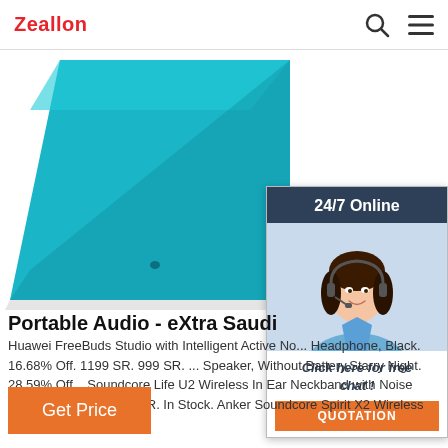Zeallon
[Figure (screenshot): Teal/blue laptop or tablet device shown at an angle from above on white background]
[Figure (infographic): 24/7 Online chat widget with female customer service agent wearing headset, 'Click here for free chat!' text and orange QUOTATION button]
Portable Audio - eXtra Saudi
Huawei FreeBuds Studio with Intelligent Active No... Headphone, Black. 16.68% Off. 1199 SR. 999 SR. ... Speaker, Without Battery,Starry Night. 28.59% Off... Soundcore Life U2 Wireless In Ear Neckband with Noise Reduction, Black. 199 SR. In Stock. Anker Soundcore Spirit X2 Wireless Sports Earbuds Noise ...
Get Price